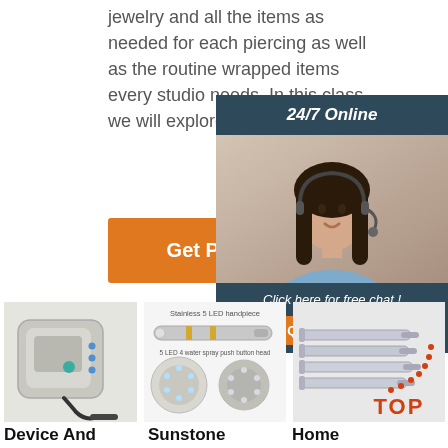jewelry and all the items as needed for each piercing as well as the routine wrapped items every studio needs. In this class we will explore ...
Get Price
[Figure (infographic): 24/7 Online chat widget with female agent wearing headset, dark blue/teal background, 'Click here for free chat!' text and orange QUOTATION button]
[Figure (photo): Electronic device - appears to be a dental or nail drill machine, beige/gray color]
[Figure (photo): Stainless 5 LED handpiece dental tool product listing with components shown]
[Figure (photo): Home medical syringes product image with TOP badge overlay]
Device And
Sunstone
Home